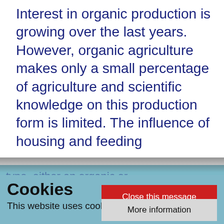Interest in organic production is growing over the last years. However, organic agriculture makes only a small percentage of agriculture and scientific knowledge on this production form is limited. The influence of housing and feeding type, either an organic or a conventional one, on a set of welfare parameters was monitored in the present study.
Cookies
This website uses cookies.
Close this message
More information